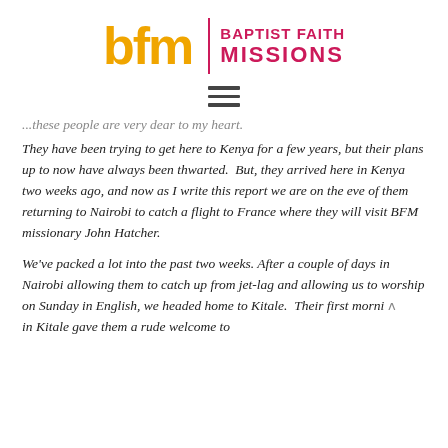[Figure (logo): Baptist Faith Missions logo: 'bfm' in large gold letters, vertical magenta divider line, 'BAPTIST FAITH MISSIONS' in magenta uppercase to the right]
[Figure (infographic): Hamburger menu icon: three horizontal dark lines stacked vertically, centered on page]
...these people are very dear to my heart. They have been trying to get here to Kenya for a few years, but their plans up to now have always been thwarted. But, they arrived here in Kenya two weeks ago, and now as I write this report we are on the eve of them returning to Nairobi to catch a flight to France where they will visit BFM missionary John Hatcher.
We've packed a lot into the past two weeks. After a couple of days in Nairobi allowing them to catch up from jet-lag and allowing us to worship on Sunday in English, we headed home to Kitale. Their first morni in Kitale gave them a rude welcome to